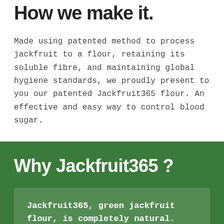How we make it.
Made using patented method to process jackfruit to a flour, retaining its soluble fibre, and maintaining global hygiene standards, we proudly present to you our patented Jackfruit365 flour. An effective and easy way to control blood sugar.
Why Jackfruit365 ?
Jackfruit365, green jackfruit flour, is completely natural.
< 1/3 >